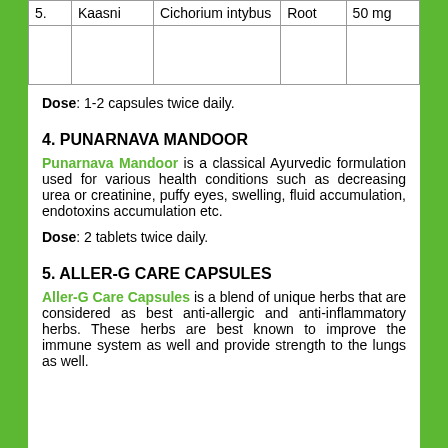| # | Name | Botanical Name | Part | Amount |
| --- | --- | --- | --- | --- |
| 5. | Kaasni | Cichorium intybus | Root | 50 mg |
Dose: 1-2 capsules twice daily.
4. PUNARNAVA MANDOOR
Punarnava Mandoor is a classical Ayurvedic formulation used for various health conditions such as decreasing urea or creatinine, puffy eyes, swelling, fluid accumulation, endotoxins accumulation etc.
Dose: 2 tablets twice daily.
5. ALLER-G CARE CAPSULES
Aller-G Care Capsules is a blend of unique herbs that are considered as best anti-allergic and anti-inflammatory herbs. These herbs are best known to improve the immune system as well and provide strength to the lungs as well.